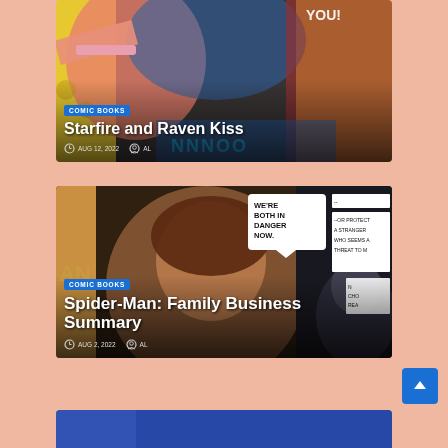[Figure (illustration): Comic book art showing colorful characters with pink and blue tones and yellow background. Overlay shows category badge 'COMIC BOOKS', title 'Starfire and Raven Kiss', date AUG 12, 2022, author AL.]
Starfire and Raven Kiss
AUG 12, 2022  AL
[Figure (illustration): Comic book art showing a woman with brown hair in dramatic lighting with speech bubble 'WE'RE BOTH IN DANGER NOW.' and text '--OR PROTECT A STRANGER WHO SEEMS A THREAT TO M...' Category badge 'COMIC BOOKS', title 'Spider-Man: Family Business Summary', date AUG 2, 2022, author AL.]
Spider-Man: Family Business Summary
AUG 2, 2022  AL